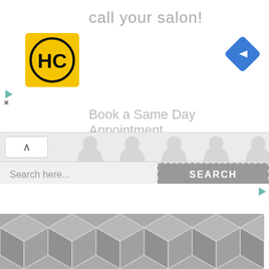call your salon!
[Figure (logo): HC logo - yellow square with black H and C letters in circle]
[Figure (other): Blue diamond navigation arrow icon pointing right]
Book a Same Day Appointment
[Figure (screenshot): Search bar UI with collapse button (chevron up), silhouette decorations, search placeholder text and SEARCH button]
[Figure (other): Advertisement geometric cube tile pattern in grey]
[Figure (logo): Infolinks logo on dark blue background]
[Figure (screenshot): Frontgate SALES advertisement with outdoor furniture image, title, description and arrow button]
Frontgate SALES
20% off sitewide plus free shipping from August 19-22
frontgate.com